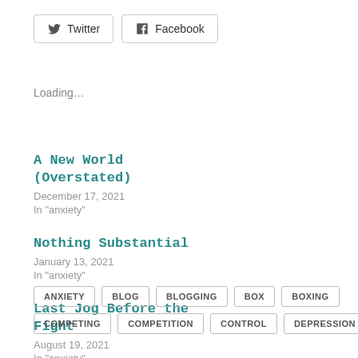[Figure (other): Twitter share button with bird icon and border]
[Figure (other): Facebook share button with Facebook icon and border]
Loading...
A New World (Overstated)
December 17, 2021
In "anxiety"
Nothing Substantial
January 13, 2021
In "anxiety"
Last Jog Before the Fight
August 19, 2021
In "anxiety"
ANXIETY
BLOG
BLOGGING
BOX
BOXING
COMPETING
COMPETITION
CONTROL
DEPRESSION